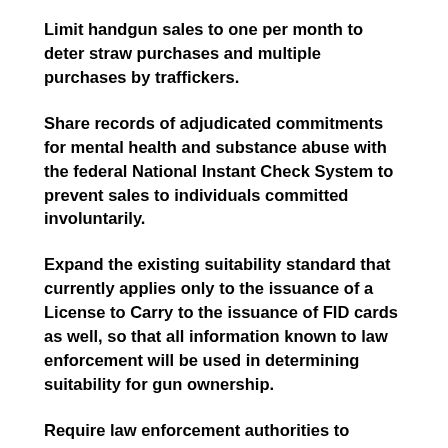Limit handgun sales to one per month to deter straw purchases and multiple purchases by traffickers.
Share records of adjudicated commitments for mental health and substance abuse with the federal National Instant Check System to prevent sales to individuals committed involuntarily.
Expand the existing suitability standard that currently applies only to the issuance of a License to Carry to the issuance of FID cards as well, so that all information known to law enforcement will be used in determining suitability for gun ownership.
Require law enforcement authorities to attempt to determine, every time a gun is involved in an injury or death, the owner of the gun and where